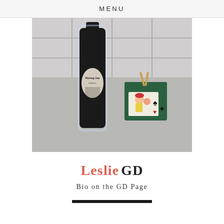MENU
[Figure (photo): A dark beer bottle wrapped in cellophane (Hertog Jan Tripel) standing next to a small decorative gift box with a cartoon character and playing card suit symbols, on a grey countertop with white tiles in the background.]
Leslie GD
Bio on the GD Page